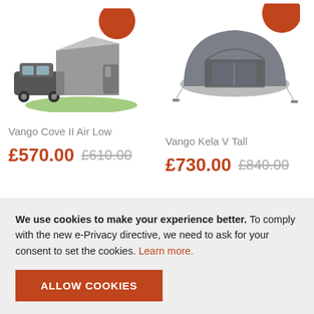[Figure (photo): Vango Cove II Air Low tent with car, on grass, with orange sale badge]
[Figure (photo): Vango Kela V Tall tent, grey, with orange sale badge]
Vango Cove II Air Low
£570.00 £610.00
Vango Kela V Tall
£730.00 £840.00
We use cookies to make your experience better. To comply with the new e-Privacy directive, we need to ask for your consent to set the cookies. Learn more.
ALLOW COOKIES